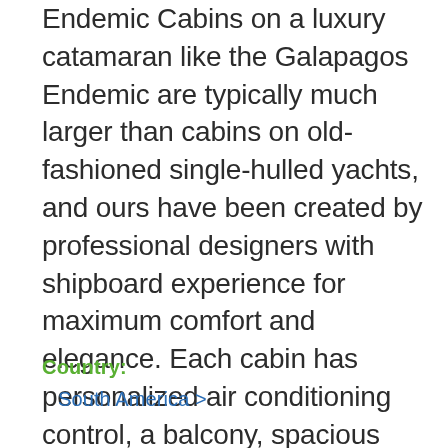Endemic Cabins on a luxury catamaran like the Galapagos Endemic are typically much larger than cabins on old-fashioned single-hulled yachts, and ours have been created by professional designers with shipboard experience for maximum comfort and elegance. Each cabin has personalized air conditioning control, a balcony, spacious private bathroom and either a king-size bed or two twin-size beds. Naturally, each cabin also boasts closet/drawer space as well as a writing desk and strongbox.
Country:
South America >